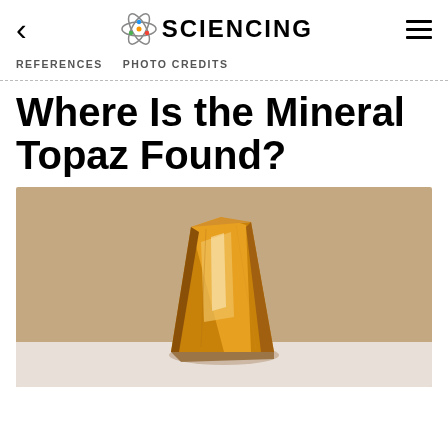SCIENCING
REFERENCES    PHOTO CREDITS
Where Is the Mineral Topaz Found?
[Figure (photo): Close-up photograph of a golden-amber topaz mineral crystal on a light background]